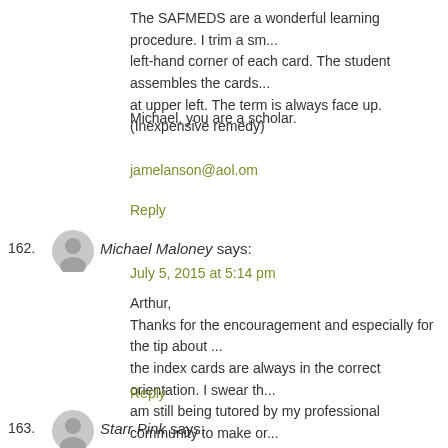The SAFMEDS are a wonderful learning procedure. I trim a sm... left-hand corner of each card. The student assembles the cards... at upper left. The term is always face up. (Inexpensive remedy)
Michael, you are a scholar.
jamelanson@aol.om
Reply
162. Michael Maloney says:
July 5, 2015 at 5:14 pm
Arthur,
Thanks for the encouragement and especially for the tip about the index cards are always in the correct orientation. I swear th... am still being tutored by my professional community to make or... Michael
Reply
163. Starr Pink says: